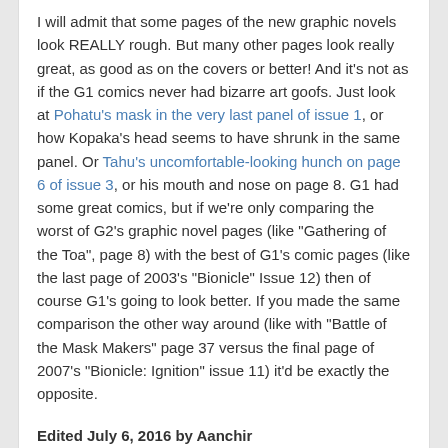I will admit that some pages of the new graphic novels look REALLY rough. But many other pages look really great, as good as on the covers or better! And it's not as if the G1 comics never had bizarre art goofs. Just look at Pohatu's mask in the very last panel of issue 1, or how Kopaka's head seems to have shrunk in the same panel. Or Tahu's uncomfortable-looking hunch on page 6 of issue 3, or his mouth and nose on page 8. G1 had some great comics, but if we're only comparing the worst of G2's graphic novel pages (like "Gathering of the Toa", page 8) with the best of G1's comic pages (like the last page of 2003's "Bionicle" Issue 12) then of course G1's going to look better. If you made the same comparison the other way around (like with "Battle of the Mask Makers" page 37 versus the final page of 2007's "Bionicle: Ignition" issue 11) it'd be exactly the opposite.
Edited July 6, 2016 by Aanchir
The Outsider
Posted July 6, 2016